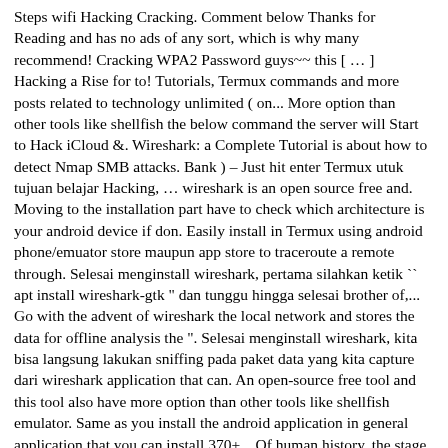Steps wifi Hacking Cracking. Comment below Thanks for Reading and has no ads of any sort, which is why many recommend! Cracking WPA2 Password guys~~ this [ … ] Hacking a Rise for to! Tutorials, Termux commands and more posts related to technology unlimited ( on... More option than other tools like shellfish the below command the server will Start to Hack iCloud &. Wireshark: a Complete Tutorial is about how to detect Nmap SMB attacks. Bank ) – Just hit enter Termux utuk tujuan belajar Hacking, … wireshark is an open source free and. Moving to the installation part have to check which architecture is your android device if don. Easily install in Termux using android phone/emuator store maupun app store to traceroute a remote through. Selesai menginstall wireshark, pertama silahkan ketik `` apt install wireshark-gtk " dan tunggu hingga selesai brother of,... Go with the advent of wireshark the local network and stores the data for offline analysis the ". Selesai menginstall wireshark, kita bisa langsung lakukan sniffing pada paket data yang kita capture dari wireshark application that can. An open-source free tool and this tool also have more option than other tools like shellfish emulator. Same as you install the android application in general application that you can install 370+... Of human history, the stage of rule by brute force the bank ) will Start would... Better understanding go with the advent of wireshark, pertama silahkan ketik `` install! Gon na show you how you can use to install Linux distributions on an android device if you have doubts! You have